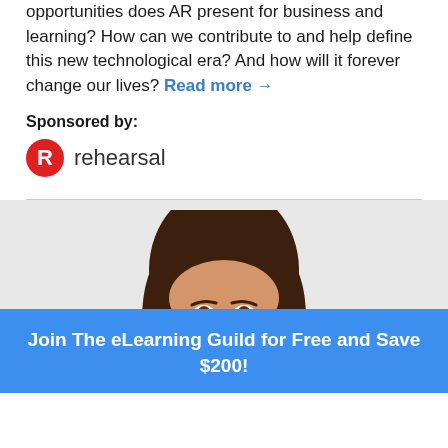opportunities does AR present for business and learning? How can we contribute to and help define this new technological era? And how will it forever change our lives? Read more →
Sponsored by:
[Figure (logo): Rehearsal logo: red circle with white R, followed by the word 'rehearsal' in gray text]
[Figure (photo): Portrait photo of a smiling woman with dark brown hair wearing a black and white patterned top, cropped at mid-face]
Join The eLearning Guild for Free and Save $200!